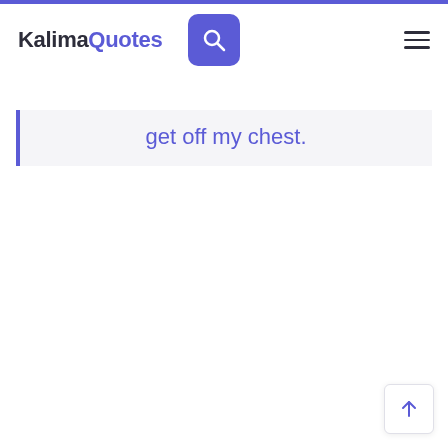KalimaQuotes
get off my chest.
[Figure (other): Scroll-to-top button with upward arrow icon]